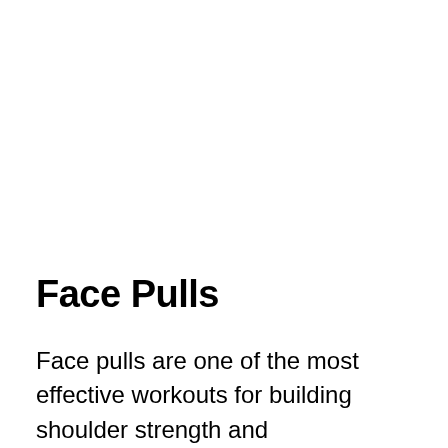Face Pulls
Face pulls are one of the most effective workouts for building shoulder strength and